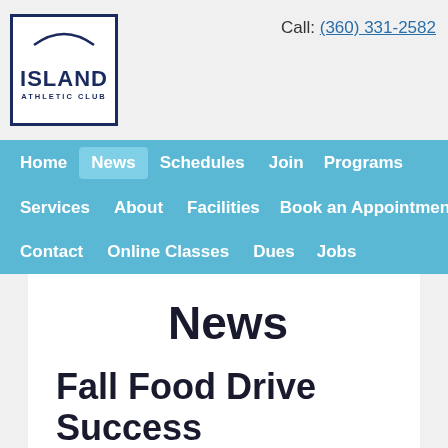Island Athletic Club | Call: (360) 331-2582
Home | News | Schedules | Join | Programs | Services | About | Facilities | Book an Appointment | Contact | Online Classes | Dues | Jobs
News
Fall Food Drive Success